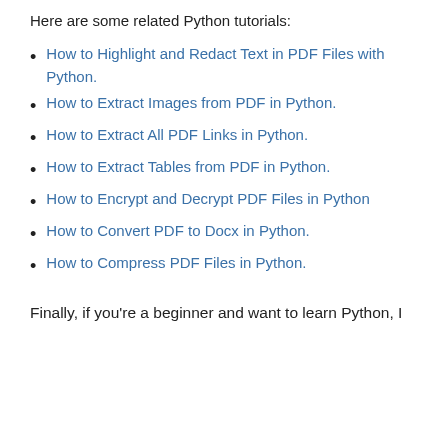Here are some related Python tutorials:
How to Highlight and Redact Text in PDF Files with Python.
How to Extract Images from PDF in Python.
How to Extract All PDF Links in Python.
How to Extract Tables from PDF in Python.
How to Encrypt and Decrypt PDF Files in Python
How to Convert PDF to Docx in Python.
How to Compress PDF Files in Python.
Finally, if you're a beginner and want to learn Python, I